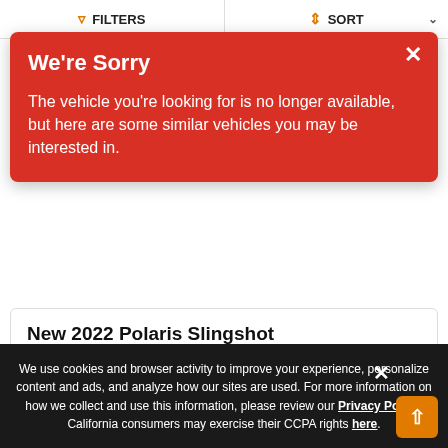FILTERS   SORT
We're Sorry

The vehicle you're looking for is no longer available, but here are some similar vehicles you may be interested in.
New 2022 Polaris Slingshot
$24,549
| Color | Ghost Gray |
| Engine | 2.0L Prostar |
[Figure (screenshot): Second vehicle card with photo count badge showing 1 image, heart and compare icon buttons]
We use cookies and browser activity to improve your experience, personalize content and ads, and analyze how our sites are used. For more information on how we collect and use this information, please review our Privacy Policy. California consumers may exercise their CCPA rights here.